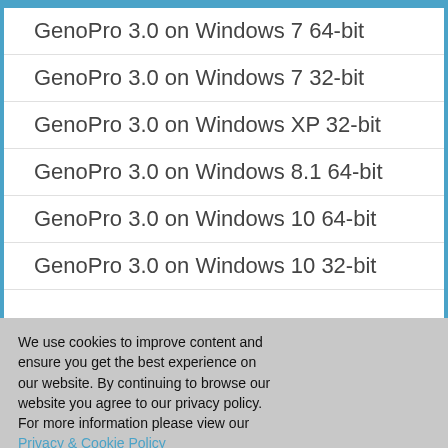GenoPro 3.0 on Windows 7 64-bit
GenoPro 3.0 on Windows 7 32-bit
GenoPro 3.0 on Windows XP 32-bit
GenoPro 3.0 on Windows 8.1 64-bit
GenoPro 3.0 on Windows 10 64-bit
GenoPro 3.0 on Windows 10 32-bit
We use cookies to improve content and ensure you get the best experience on our website. By continuing to browse our website you agree to our privacy policy. For more information please view our Privacy & Cookie Policy